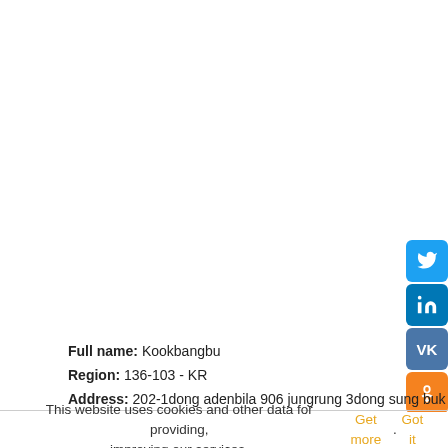[Figure (infographic): Social media share buttons on the right side: Twitter (blue bird icon), LinkedIn (blue 'in' icon), VK (blue 'VK' icon), OK/Odnoklassniki (orange icon), Telegram (blue paper plane icon), Tumblr (dark blue 't' icon)]
Full name: Kookbangbu
Region: 136-103 - KR
Address: 202-1dong adenbila 906 jungrung 3dong sung buk gu
This website uses cookies and other data for providing, improving our services. Get more. Got it